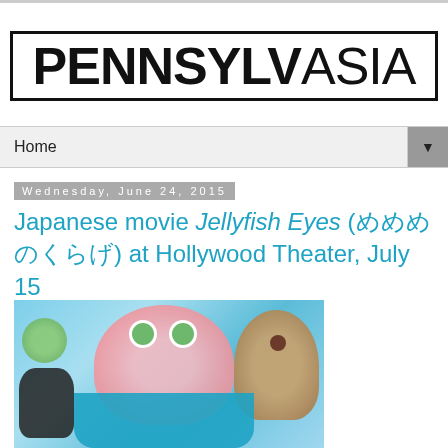[Figure (logo): PENNSYLVASIA blog logo in bold black text inside a rectangular border. PENNSYLV is bold/heavy weight, ASIA is lighter weight.]
Home ▼
Wednesday, June 24, 2015
Japanese movie Jellyfish Eyes (めめめのくらげ) at Hollywood Theater, July 15
[Figure (photo): Colorful Japanese animated movie poster for Jellyfish Eyes showing cartoon jellyfish and child characters on a bright blue background.]